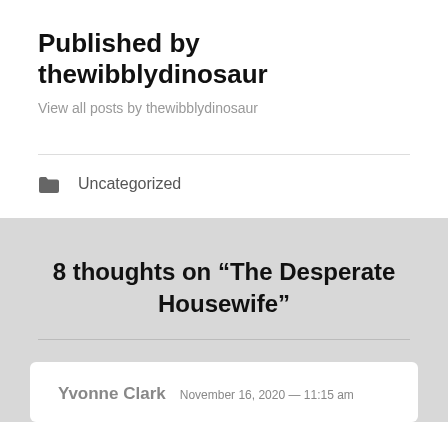Published by thewibblydinosaur
View all posts by thewibblydinosaur
Uncategorized
8 thoughts on “The Desperate Housewife”
Yvonne Clark  November 16, 2020 — 11:15 am